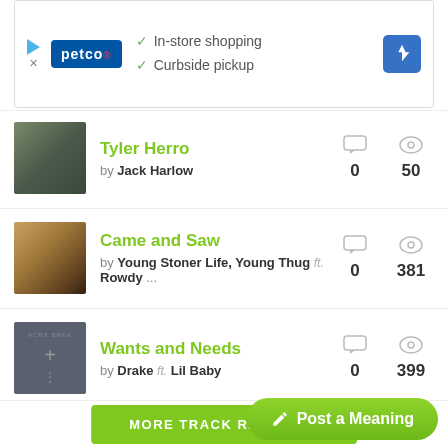[Figure (other): Petco advertisement banner with logo, In-store shopping and Curbside pickup checkmarks, and navigation arrow icon]
Tyler Herro by Jack Harlow — 0 comments, 50 views
Came and Saw by Young Stoner Life, Young Thug ft. Rowdy ... — 0 comments, 381 views
Wants and Needs by Drake ft. Lil Baby — 0 comments, 399 views
MORE TRACK RANKINGS
Post a Meaning